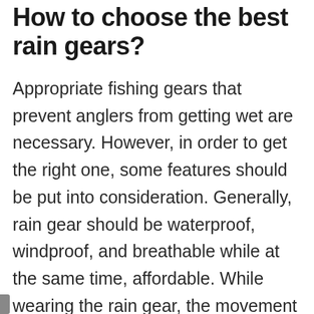How to choose the best rain gears?
Appropriate fishing gears that prevent anglers from getting wet are necessary. However, in order to get the right one, some features should be put into consideration. Generally, rain gear should be waterproof, windproof, and breathable while at the same time, affordable. While wearing the rain gear, the movement should not be interfered with as well as the safety measures. Manufacturers are always looking for ways to incorporate all this and